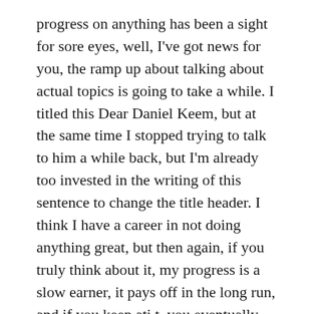progress on anything has been a sight for sore eyes, well, I've got news for you, the ramp up about talking about actual topics is going to take a while. I titled this Dear Daniel Keem, but at the same time I stopped trying to talk to him a while back, but I'm already too invested in the writing of this sentence to change the title header. I think I have a career in not doing anything great, but then again, if you truly think about it, my progress is a slow earner, it pays off in the long run, and if you keep ati t, you eventually get somewhere in life.
I have nothing to say to Daniel at this time, I'm just trying to t get through the nerves of writing a blog in the firstp lace. It's been such a